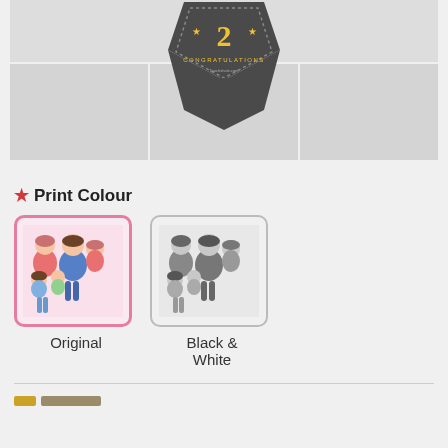[Figure (screenshot): Product image grid showing a congratulations badge/sticker overlapping three columns. Top row is a single wide grey cell with the badge centered; bottom row has three equal grey cells. The badge is shield-shaped, dark grey, with 'CONGRATULATIONS' text and a decorative '2' with stars.]
* Print Colour
[Figure (illustration): Two print colour options shown side by side. Left: 'Original' - a colourful illustration of a family (woman, man, two children) with a pink border indicating selected state. Right: 'Black & White' - same illustration in greyscale with a grey border.]
Original
Black &
White